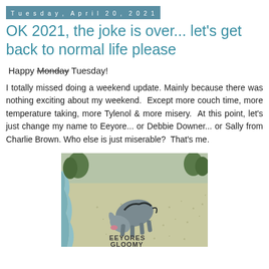Tuesday, April 20, 2021
OK 2021, the joke is over... let's get back to normal life please
Happy Monday Tuesday!
I totally missed doing a weekend update. Mainly because there was nothing exciting about my weekend.  Except more couch time, more temperature taking, more Tylenol & more misery.  At this point, let's just change my name to Eeyore... or Debbie Downer... or Sally from Charlie Brown. Who else is just miserable?  That's me.
[Figure (photo): Illustration of Eeyore from Winnie the Pooh, hunched over on the ground near a river with text 'EEYORES GLOOMY PLACE' written on the ground.]